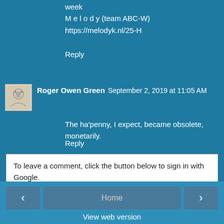week
M e l o d y (team ABC-W)
https://melodyk.nl/25-H
Reply
Roger Owen Green  September 2, 2019 at 11:05 AM
The ha'penny, I expect, became obsolete, monetarily.
Reply
To leave a comment, click the button below to sign in with Google.
SIGN IN WITH GOOGLE
This blog does not allow anonymous comments.
‹
Home
›
View web version